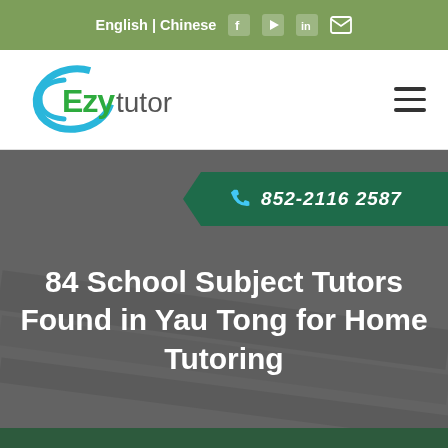English | Chinese
[Figure (logo): EzyTutor logo with cyan arc on left and green cursive 'Ezy' with gray 'tutor' text]
852-2116 2587
84 School Subject Tutors Found in Yau Tong for Home Tutoring